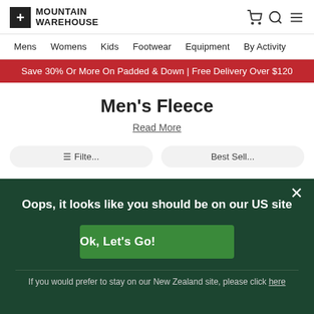+ MOUNTAIN WAREHOUSE
Mens  Womens  Kids  Footwear  Equipment  By Activity
Save 30% Or More On Padded & Down | Free Delivery Over $120
Men's Fleece
Read More
Filter  Best Sell...
Oops, it looks like you should be on our US site
Ok, Let's Go!
If you would prefer to stay on our New Zealand site, please click here